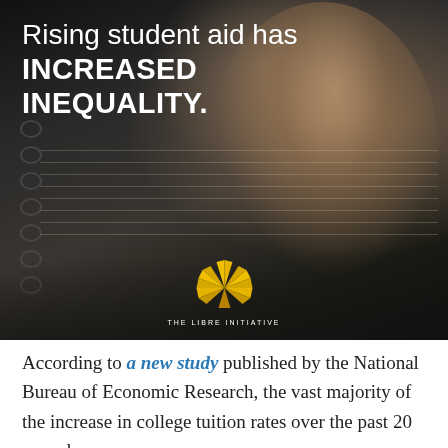[Figure (photo): Dark background photo of a hand holding a pen writing in a spiral notebook, with 'The Libre Initiative' logo (gold starburst) centered at the bottom of the image. White text overlay reads: 'Rising student aid has INCREASED INEQUALITY.']
Rising student aid has INCREASED INEQUALITY.
According to a new study published by the National Bureau of Economic Research, the vast majority of the increase in college tuition rates over the past 20 years has